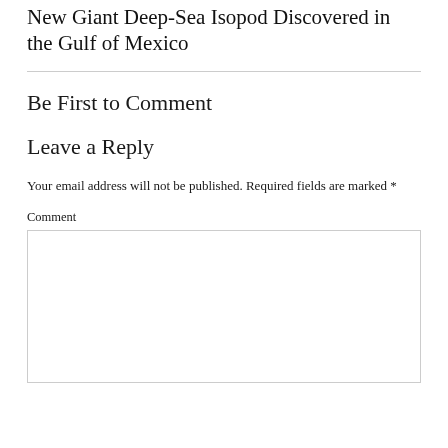New Giant Deep-Sea Isopod Discovered in the Gulf of Mexico
Be First to Comment
Leave a Reply
Your email address will not be published. Required fields are marked *
Comment